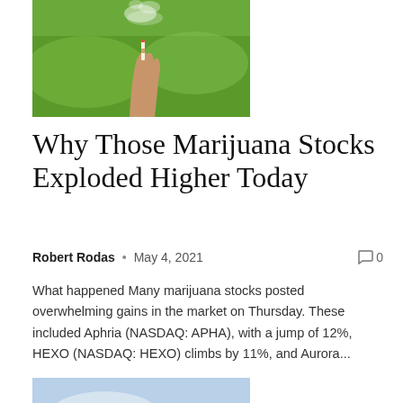[Figure (photo): A hand holding a marijuana cigarette with smoke, green background]
Why Those Marijuana Stocks Exploded Higher Today
Robert Rodas  •  May 4, 2021   🗨 0
What happened Many marijuana stocks posted overwhelming gains in the market on Thursday. These included Aphria (NASDAQ: APHA), with a jump of 12%, HEXO (NASDAQ: HEXO) climbs by 11%, and Aurora...
[Figure (photo): A building exterior with large W letter signage against a blue sky]